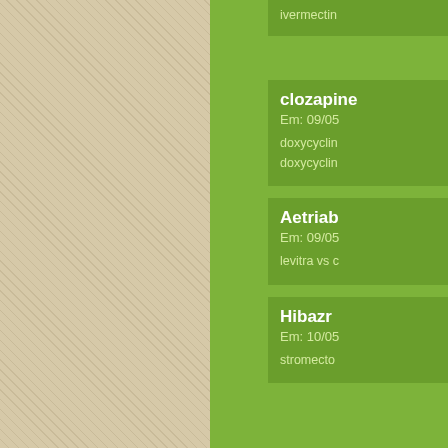ivermectin
clozapine
Em: 09/05
doxycyclin
doxycyclin
Aetriab
Em: 09/05
levitra vs c
Hibazr
Em: 10/05
stromecto